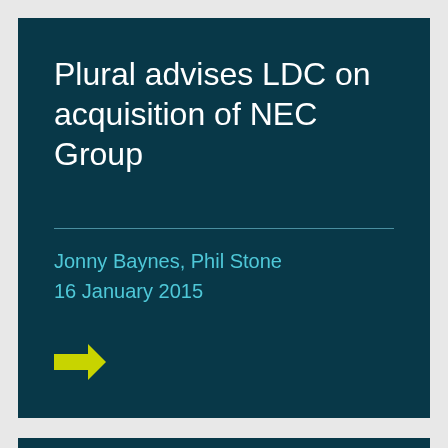Plural advises LDC on acquisition of NEC Group
Jonny Baynes, Phil Stone
16 January 2015
[Figure (other): Yellow right-pointing arrow icon]